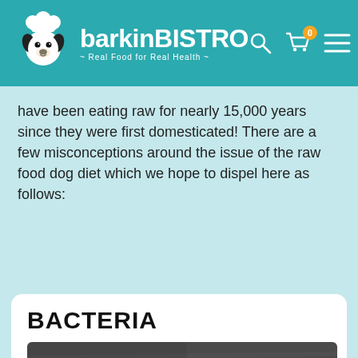barkinBISTRO — Real Food for Real Health
have been eating raw for nearly 15,000 years since they were first domesticated! There are a few misconceptions around the issue of the raw food dog diet which we hope to dispel here as follows:
BACTERIA
[Figure (photo): A white bowl filled with raw dog food (ground meat), viewed from above on a dark grey background]